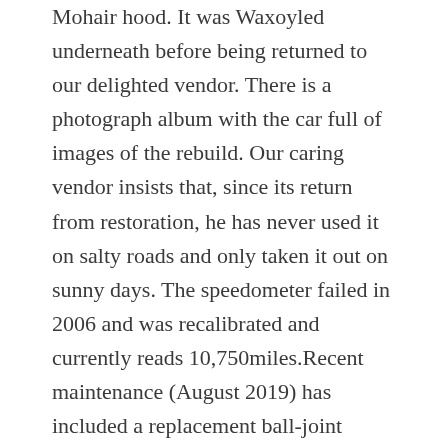Mohair hood. It was Waxoyled underneath before being returned to our delighted vendor. There is a photograph album with the car full of images of the rebuild. Our caring vendor insists that, since its return from restoration, he has never used it on salty roads and only taken it out on sunny days. The speedometer failed in 2006 and was recalibrated and currently reads 10,750miles.Recent maintenance (August 2019) has included a replacement ball-joint gaiter, twoengine mountings, a shock-absorber sleeve, two new rear brake discs and brake pads all round. There is an invoice in the file for 1,854 relating to this attention.There is a bespoke